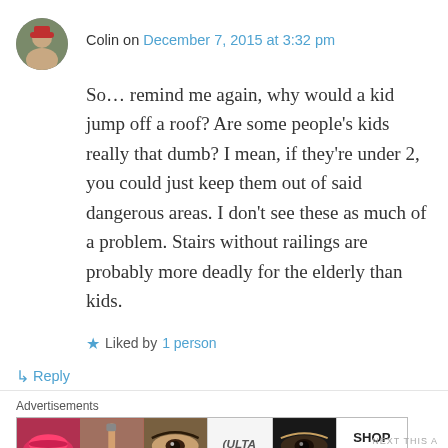Colin on December 7, 2015 at 3:32 pm
So… remind me again, why would a kid jump off a roof? Are some people's kids really that dumb? I mean, if they're under 2, you could just keep them out of said dangerous areas. I don't see these as much of a problem. Stairs without railings are probably more deadly for the elderly than kids.
★ Liked by 1 person
↳ Reply
[Figure (infographic): Ulta Beauty advertisement banner with cosmetics imagery including lips, makeup brush, eyes, Ulta logo, and SHOP NOW text]
Advertisements